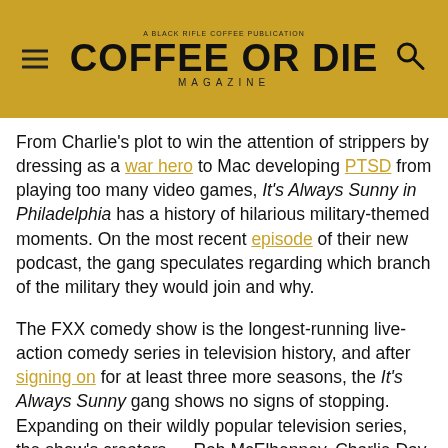COFFEE OR DIE MAGAZINE
From Charlie's plot to win the attention of strippers by dressing as a war hero to Mac developing PTSD from playing too many video games, It's Always Sunny in Philadelphia has a history of hilarious military-themed moments. On the most recent episode of their new podcast, the gang speculates regarding which branch of the military they would join and why.
The FXX comedy show is the longest-running live-action comedy series in television history, and after signing on for at least three more seasons, the It's Always Sunny gang shows no signs of stopping. Expanding on their wildly popular television series, the show's creators — Rob McElhenney, Charlie Day, and Glenn Howerton, who also star as three of the five main characters — recently started a podcast, which